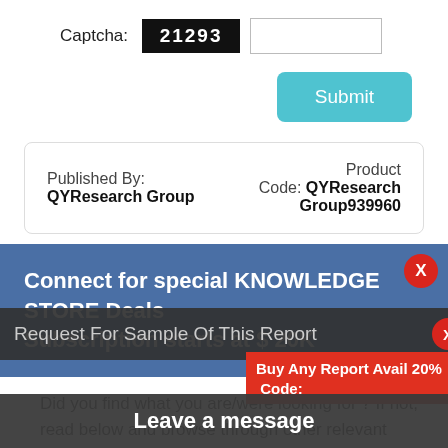Captcha: 21293 [input field]
Submit
Published By: QYResearch Group   Product Code: QYResearch Group939960
Connect for special KNOWLEDGE STORE Deals Subscription starts at $ 20K
Did you find what you are/were looking for ? If not, read below and browse through other relevant pages for similar market research reports OR get in touch with us through the form/contact info in market r...
Request For Sample Of This Report
Buy Any Report Avail 20% Code:
Leave a message